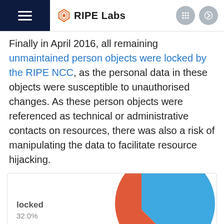RIPE Labs
Finally in April 2016, all remaining unmaintained person objects were locked by the RIPE NCC, as the personal data in these objects were susceptible to unauthorised changes. As these person objects were referenced as technical or administrative contacts on resources, there was also a risk of manipulating the data to facilitate resource hijacking.
[Figure (pie-chart): ]